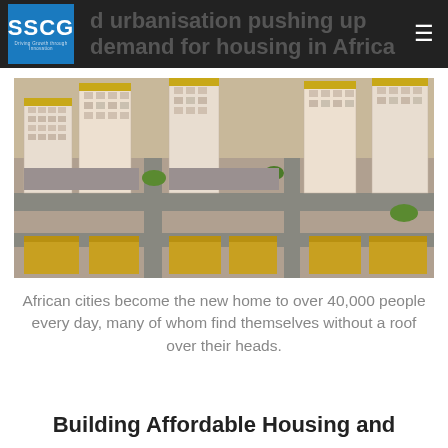SSCG — d urbanisation pushing up demand for housing in Africa
[Figure (photo): Aerial view of an African housing development with yellow-roofed apartment buildings and townhouses arranged along roads, with landscaped areas between blocks.]
African cities become the new home to over 40,000 people every day, many of whom find themselves without a roof over their heads.
Building Affordable Housing and